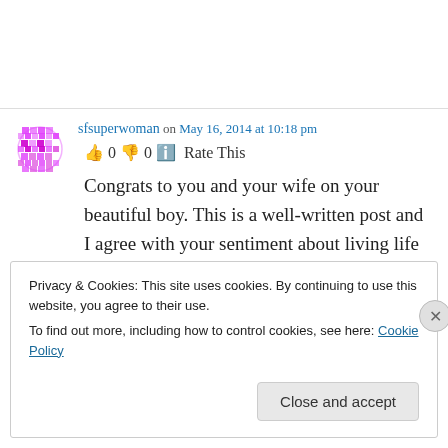sfsuperwoman on May 16, 2014 at 10:18 pm
👍 0 👎 0 ℹ Rate This
Congrats to you and your wife on your beautiful boy. This is a well-written post and I agree with your sentiment about living life deeply.
Privacy & Cookies: This site uses cookies. By continuing to use this website, you agree to their use.
To find out more, including how to control cookies, see here: Cookie Policy
Close and accept